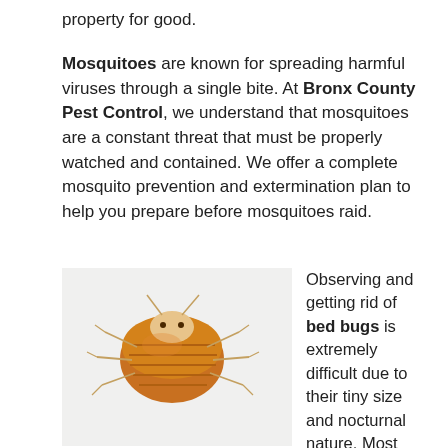property for good.
Mosquitoes are known for spreading harmful viruses through a single bite. At Bronx County Pest Control, we understand that mosquitoes are a constant threat that must be properly watched and contained. We offer a complete mosquito prevention and extermination plan to help you prepare before mosquitoes raid.
[Figure (illustration): Illustration of a bed bug viewed from above, showing brown segmented body, six legs, and head detail against a light gray background.]
Observing and getting rid of bed bugs is extremely difficult due to their tiny size and nocturnal nature. Most often the only way you know you have them are the small red bite marks on your exposed skin or blood spots on your sheets and bedding.